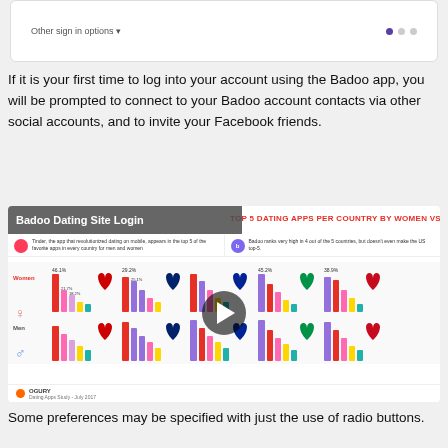[Figure (screenshot): Login screen with 'Other sign in options' dropdown and navigation dots]
If it is your first time to log into your account using the Badoo app, you will be prompted to connect to your Badoo account contacts via other social accounts, and to invite your Facebook friends.
[Figure (infographic): Badoo Dating Site Login infographic showing 'TOP 5 DATING APPS PER COUNTRY BY WOMEN VS MEN' with bar charts for USA, UK, France, Italy, and Spain for both women and men. Features Tinder and Badoo app rankings by country. Source: Ogury Dating Apps Study, July 2017.]
Some preferences may be specified with just the use of radio buttons.